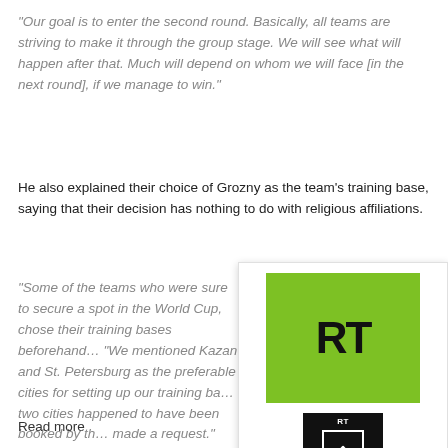“Our goal is to enter the second round. Basically, all teams are striving to make it through the group stage. We will see what will happen after that. Much will depend on whom we will face [in the next round], if we manage to win.”
He also explained their choice of Grozny as the team’s training base, saying that their decision has nothing to do with religious affiliations.
“Some of the teams who were sure to secure a spot in the World Cup, chose their training bases beforehand… “We mentioned Kazan and St. Petersburg as the preferable cities for setting up our training base, but two cities happened to have been booked by the time we made a request.”
[Figure (logo): RT (Russia Today) logo: green background with black RT text, and a black scroll-to-top button below]
Read more